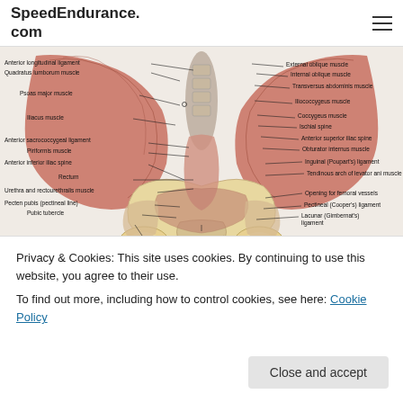SpeedEndurance.com
[Figure (illustration): Anatomical diagram of the hip and pelvis region showing labeled muscles, ligaments, and bones including: Anterior longitudinal ligament, Quadratus lumborum muscle, Psoas major muscle, Iliacus muscle, Anterior sacrococcygeal ligament, Piriformis muscle, Anterior inferior iliac spine, Rectum, Urethra and rectourethralis muscle, Pecten pubis (pectineal line), Pubic tubercle, Obturator membrane, Pubic symphysis, Levator ani muscle, Lesser trochanter of femur, External oblique muscle, Internal oblique muscle, Transversus abdominis muscle, Iliococcygeus muscle, Coccygeus muscle, Ischial spine, Anterior superior iliac spine, Obturator internus muscle, Inguinal (Poupart's) ligament, Tendinous arch of levator ani muscle, Opening for femoral vessels, Pectineal (Cooper's) ligament, Lacunar (Gimbernat's) ligament]
Privacy & Cookies: This site uses cookies. By continuing to use this website, you agree to their use. To find out more, including how to control cookies, see here: Cookie Policy